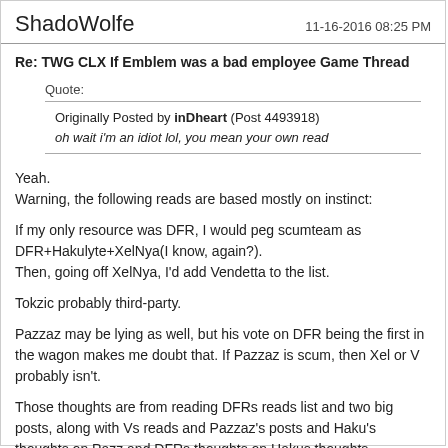ShadoWolfe    11-16-2016 08:25 PM
Re: TWG CLX If Emblem was a bad employee Game Thread
Quote:
Originally Posted by inDheart (Post 4493918)
oh wait i'm an idiot lol, you mean your own read
Yeah.
Warning, the following reads are based mostly on instinct:

If my only resource was DFR, I would peg scumteam as DFR+Hakulyte+XelNya(I know, again?).
Then, going off XelNya, I'd add Vendetta to the list.

Tokzic probably third-party.

Pazzaz may be lying as well, but his vote on DFR being the first in the wagon makes me doubt that. If Pazzaz is scum, then Xel or V probably isn't.

Those thoughts are from reading DFRs reads list and two big posts, along with Vs reads and Pazzaz's posts and Haku's thoughts on Pazz and DFRs thoughts on Hakus thoughts